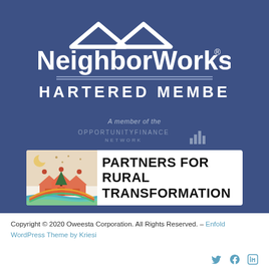[Figure (logo): NeighborWorks Chartered Member logo — white text and house/roof icons on dark blue background]
[Figure (logo): Opportunity Finance Network logo with text 'A member of the OPPORTUNITYFINANCE NETWORK' and bar chart graphic]
[Figure (logo): Partners for Rural Transformation banner with illustrated houses/people icon on left and bold black text on white background]
Copyright © 2020 Oweesta Corporation. All Rights Reserved. – Enfold WordPress Theme by Kriesi